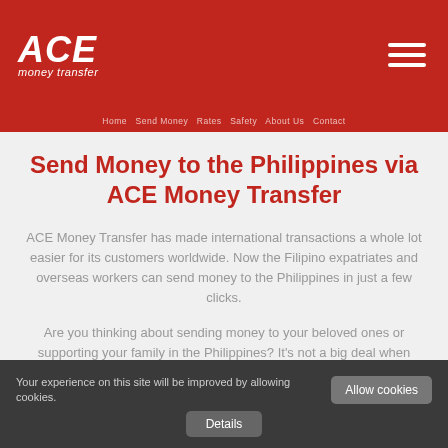ACE money transfer
Send Money to the Philippines via ACE Money Transfer
ACE Money Transfer has made international transactions a whole lot easier for its customers worldwide. Now the Filipino expatriates and overseas workers can send money to the Philippines in just a few clicks.
Are you thinking about sending money to your beloved ones or supporting your family in the Philippines? It's not a big deal when ACE is there with cutting-edge money transfer solutions.
ACE Money Transfer is recognised essentially for providing reliable online funds transfer all over the world.
Your experience on this site will be improved by allowing cookies. Allow cookies Details